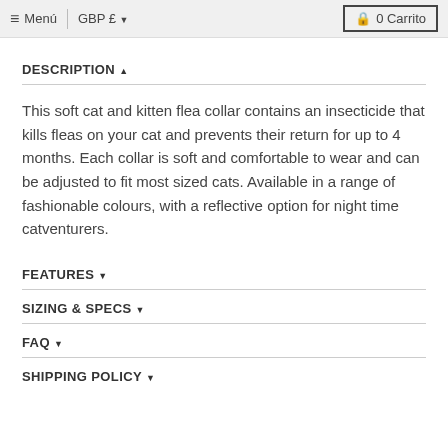≡ Menú | GBP £ ▾   🔒 0 Carrito
DESCRIPTION ▲
This soft cat and kitten flea collar contains an insecticide that kills fleas on your cat and prevents their return for up to 4 months. Each collar is soft and comfortable to wear and can be adjusted to fit most sized cats. Available in a range of fashionable colours, with a reflective option for night time catventurers.
FEATURES ▾
SIZING & SPECS ▾
FAQ ▾
SHIPPING POLICY ▾